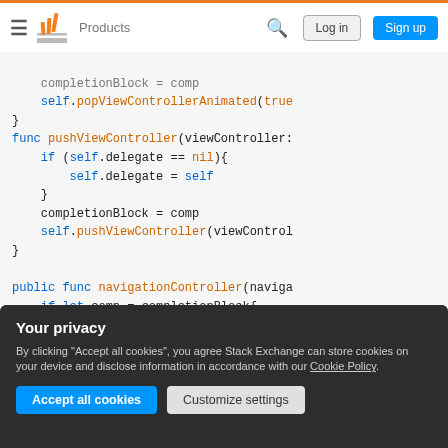Stack Overflow — Products | Log in | Sign up
[Figure (screenshot): Code snippet showing Swift navigation controller code with syntax highlighting: completionBlock, popViewControllerAnimated, pushViewController, delegate, navigationController functions]
Your privacy
By clicking "Accept all cookies", you agree Stack Exchange can store cookies on your device and disclose information in accordance with our Cookie Policy.
Accept all cookies   Customize settings
It takes a little more pipework to add this behavior